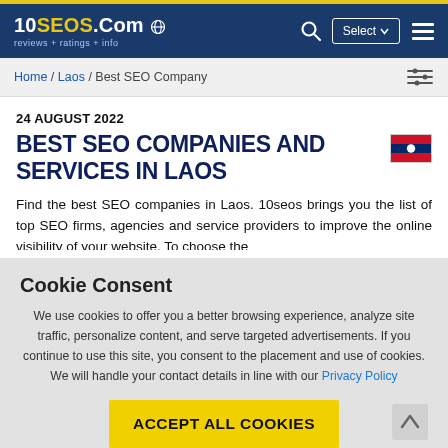10SEOS.Com — reviews + ratings + info
Home / Laos / Best SEO Company
24 AUGUST 2022
BEST SEO COMPANIES AND SERVICES IN LAOS
Find the best SEO companies in Laos. 10seos brings you the list of top SEO firms, agencies and service providers to improve the online visibility of your website. To choose the
Cookie Consent
We use cookies to offer you a better browsing experience, analyze site traffic, personalize content, and serve targeted advertisements. If you continue to use this site, you consent to the placement and use of cookies. We will handle your contact details in line with our Privacy Policy
ACCEPT ALL COOKIES